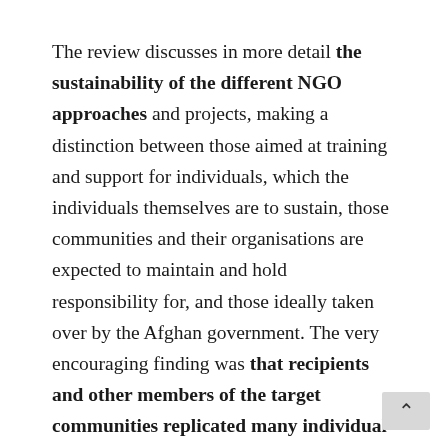The review discusses in more detail the sustainability of the different NGO approaches and projects, making a distinction between those aimed at training and support for individuals, which the individuals themselves are to sustain, those communities and their organisations are expected to maintain and hold responsibility for, and those ideally taken over by the Afghan government. The very encouraging finding was that recipients and other members of the target communities replicated many individual projects, confirming their value and ability to increase participant's income. For some of the larger projects (such as water-supply projects), it was necessary to have trained technicians and fee collection for continued maintenance to ensure sustainability, although there were several examples of community